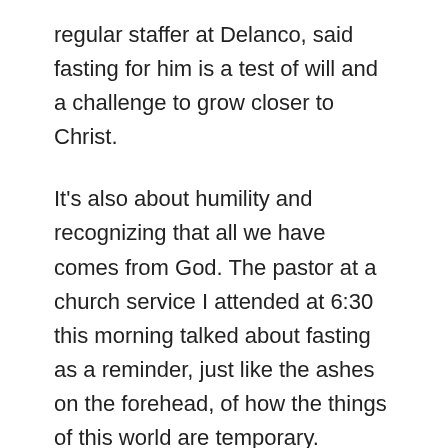regular staffer at Delanco, said fasting for him is a test of will and a challenge to grow closer to Christ.
It's also about humility and recognizing that all we have comes from God. The pastor at a church service I attended at 6:30 this morning talked about fasting as a reminder, just like the ashes on the forehead, of how the things of this world are temporary.
Matthew 6:19-21 reminds us to “not store up… treasures on earth, where moth and rust destroy, and where thieves break in and steal” but “store